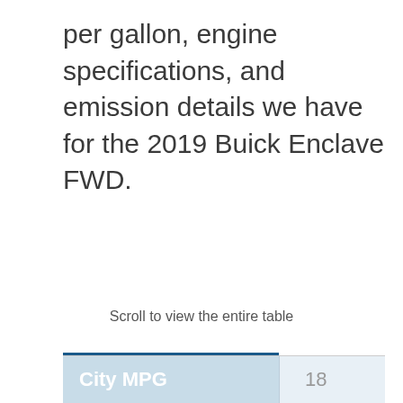per gallon, engine specifications, and emission details we have for the 2019 Buick Enclave FWD.
Scroll to view the entire table
| City MPG |  |
| --- | --- |
| City MPG | 18 |